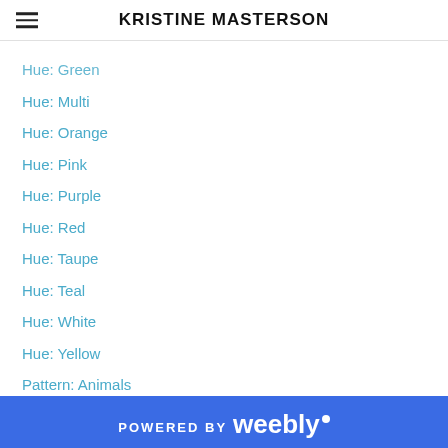KRISTINE MASTERSON
Hue: Green
Hue: Multi
Hue: Orange
Hue: Pink
Hue: Purple
Hue: Red
Hue: Taupe
Hue: Teal
Hue: White
Hue: Yellow
Pattern: Animals
Pattern: Cartoon Char.
Pattern: Comics
Pattern: Dots
Pattern: Floral
Pattern: Food
POWERED BY weebly